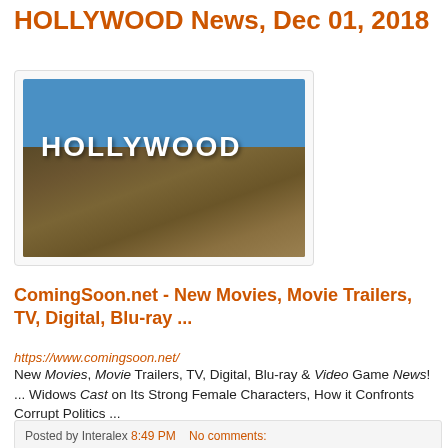HOLLYWOOD News, Dec 01, 2018
[Figure (photo): Photo of the Hollywood sign on a hillside with blue sky background]
ComingSoon.net - New Movies, Movie Trailers, TV, Digital, Blu-ray ...
https://www.comingsoon.net/
New Movies, Movie Trailers, TV, Digital, Blu-ray & Video Game News! ... Widows Cast on Its Strong Female Characters, How it Confronts Corrupt Politics ...
Posted by Interalex 8:49 PM    No comments: